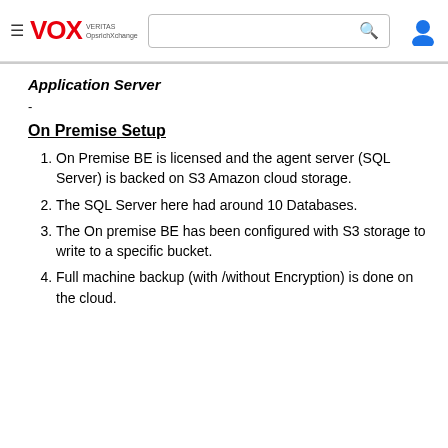≡ VOX VERITAS OpsrichXchange [search bar] [user icon]
Application Server
-
On Premise Setup
On Premise BE is licensed and the agent server (SQL Server) is backed on S3 Amazon cloud storage.
The SQL Server here had around 10 Databases.
The On premise BE has been configured with S3 storage to write to a specific bucket.
Full machine backup (with /without Encryption) is done on the cloud.